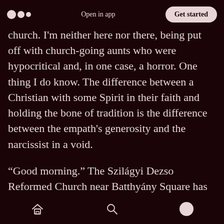Open in app | Get started
church. I'm neither here nor there, being put off with church-going aunts who were hypocritical and, in one case, a horror. One thing I do know. The difference between a Christian with some Spirit in their faith and holding the bone of tradition is the difference between the empath's generosity and the narcissist in a void.
“Good morning.” The Szilágyi Dezso Reformed Church near Batthyány Square has been around for a mere hundred years. Someone I’ll call the assistant warden, if they have such things as assistant wardens, black suit and cloak, leant
Home | Search | Profile